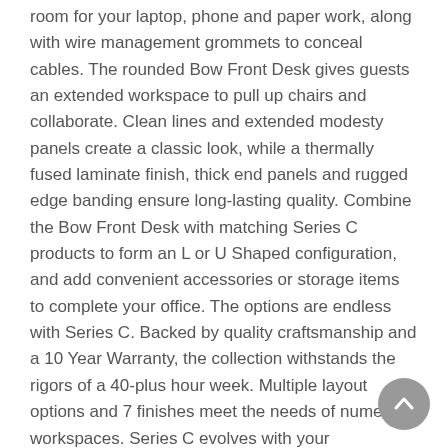room for your laptop, phone and paper work, along with wire management grommets to conceal cables. The rounded Bow Front Desk gives guests an extended workspace to pull up chairs and collaborate. Clean lines and extended modesty panels create a classic look, while a thermally fused laminate finish, thick end panels and rugged edge banding ensure long-lasting quality. Combine the Bow Front Desk with matching Series C products to form an L or U Shaped configuration, and add convenient accessories or storage items to complete your office. The options are endless with Series C. Backed by quality craftsmanship and a 10 Year Warranty, the collection withstands the rigors of a 40-plus hour week. Multiple layout options and 7 finishes meet the needs of numerous workspaces. Series C evolves with your preferences, allowing you to reconfigure your office as required with a complete line of coordinated products.
Features:
Finish: Mocha Cherry
Material: Steel, Metal, Plastic, Thermally Fused Laminate Over Engineered Wood, Wood